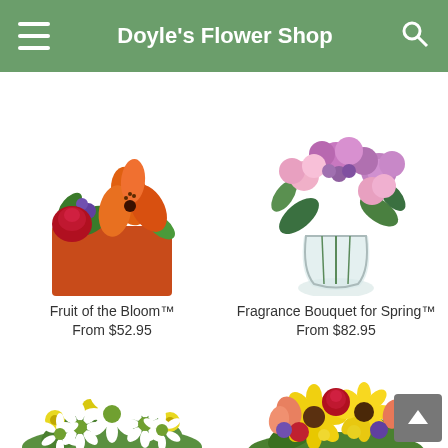Doyle's Flower Shop
FREE Next Day Delivery ends in: 66 : 20 : 47
[Figure (photo): Flower arrangement with orange lilies and red roses in an orange box — Fruit of the Bloom]
Fruit of the Bloom™
From $52.95
[Figure (photo): Purple and pink flower bouquet in a clear glass vase — Fragrance Bouquet for Spring]
Fragrance Bouquet for Spring™
From $82.95
[Figure (photo): White daisy and yellow flower arrangement]
[Figure (photo): Colorful mixed flower arrangement with yellow, red, and purple flowers]